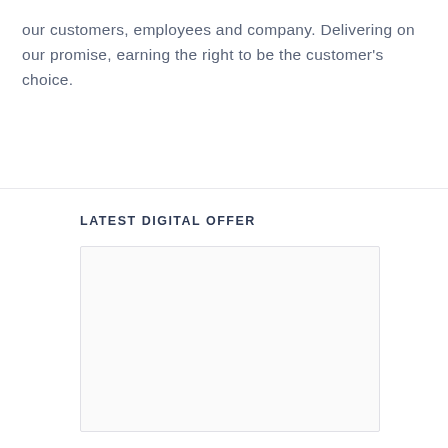our customers, employees and company. Delivering on our promise, earning the right to be the customer's choice.
LATEST DIGITAL OFFER
[Figure (other): Empty white box placeholder for digital offer image content]